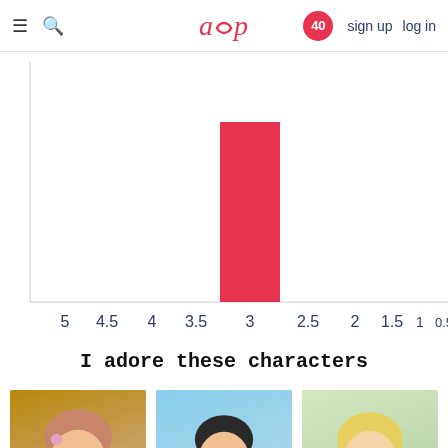≡ 🔍  aup  40  sign up  log in
[Figure (bar-chart): Rating distribution]
I adore these characters
[Figure (photo): Anime character in maid outfit with brown hair and pink flower accessory]
[Figure (photo): Anime character in blue school uniform with dark hair and red tie]
[Figure (photo): Anime character with blonde hair and teal eyes in white outfit with blue bow]